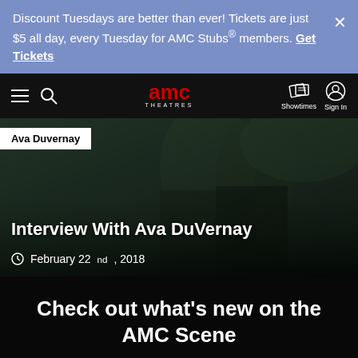Discount Tuesdays are better than ever! Tickets are just $5 all day, every Tuesday for AMC Stubs® members. Get Tickets
[Figure (screenshot): AMC Theatres navigation bar with hamburger menu, search icon, AMC Theatres logo in red, Showtimes icon, and Sign In icon on dark background]
Ava Duvernay
Interview With Ava DuVernay
February 22nd, 2018
Check out what's new on the AMC Scene
See All Articles